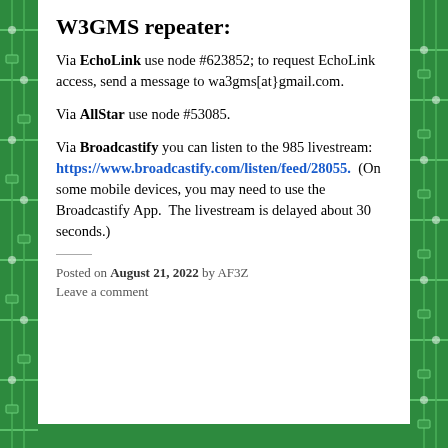W3GMS repeater:
Via EchoLink use node #623852; to request EchoLink access, send a message to wa3gms[at}gmail.com.
Via AllStar use node #53085.
Via Broadcastify you can listen to the 985 livestream: https://www.broadcastify.com/listen/feed/28055.  (On some mobile devices, you may need to use the Broadcastify App.  The livestream is delayed about 30 seconds.)
Posted on August 21, 2022 by AF3Z
Leave a comment